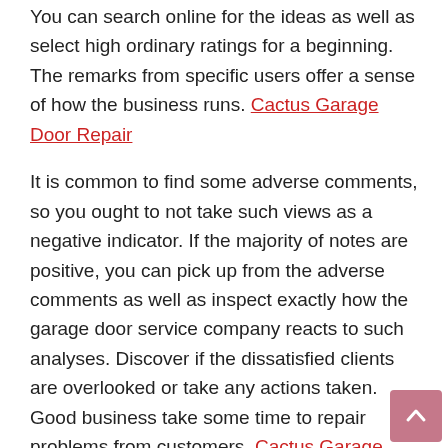You can search online for the ideas as well as select high ordinary ratings for a beginning. The remarks from specific users offer a sense of how the business runs. Cactus Garage Door Repair
It is common to find some adverse comments, so you ought to not take such views as a negative indicator. If the majority of notes are positive, you can pick up from the adverse comments as well as inspect exactly how the garage door service company reacts to such analyses. Discover if the dissatisfied clients are overlooked or take any actions taken. Good business take some time to repair problems from customers. Cactus Garage Door Repair
Think About the Red Flags